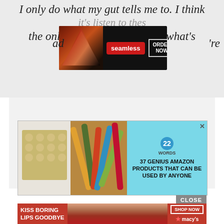I only do what my gut tells me to. I think it's important to listen to the... ad... 're the only one who can tell you what's right for you.
[Figure (screenshot): Seamless food delivery advertisement banner with pizza image, seamless logo in red, and ORDER NOW button]
[Figure (screenshot): 22 Words advertisement: '37 GENIUS AMAZON PRODUCTS THAT CAN BE USED BY ANYONE' with cookie tray and makeup product images]
[Figure (screenshot): Macy's advertisement: 'KISS BORING LIPS GOODBYE' with model photo, SHOP NOW button and Macy's logo]
CLOSE